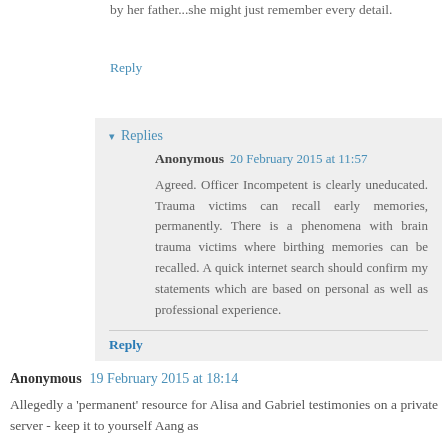by her father...she might just remember every detail.
Reply
Replies
Anonymous  20 February 2015 at 11:57
Agreed. Officer Incompetent is clearly uneducated. Trauma victims can recall early memories, permanently. There is a phenomena with brain trauma victims where birthing memories can be recalled. A quick internet search should confirm my statements which are based on personal as well as professional experience.
Reply
Anonymous  19 February 2015 at 18:14
Allegedly a 'permanent' resource for Alisa and Gabriel testimonies on a private server - keep it to yourself Aang as